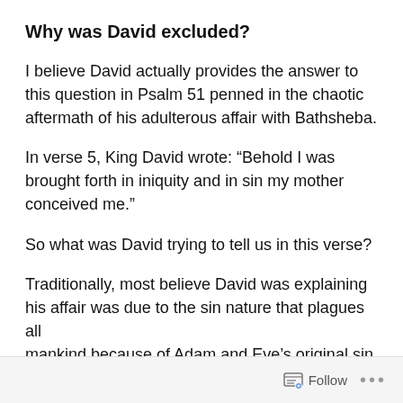Why was David excluded?
I believe David actually provides the answer to this question in Psalm 51 penned in the chaotic aftermath of his adulterous affair with Bathsheba.
In verse 5, King David wrote: “Behold I was brought forth in iniquity and in sin my mother conceived me.”
So what was David trying to tell us in this verse?
Traditionally, most believe David was explaining his affair was due to the sin nature that plagues all [text truncated]
Follow …